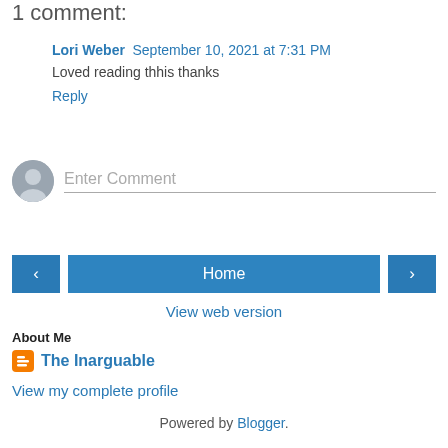1 comment:
Lori Weber  September 10, 2021 at 7:31 PM
Loved reading thhis thanks
Reply
Enter Comment
Home
View web version
About Me
The Inarguable
View my complete profile
Powered by Blogger.